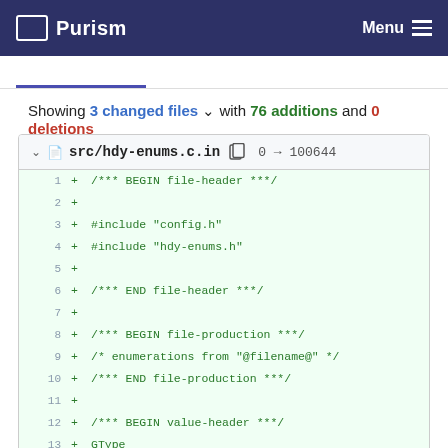Purism | Menu
Showing 3 changed files with 76 additions and 0 deletions
src/hdy-enums.c.in  0 → 100644
1  + /*** BEGIN file-header ***/
2  +
3  + #include "config.h"
4  + #include "hdy-enums.h"
5  +
6  + /*** END file-header ***/
7  +
8  + /*** BEGIN file-production ***/
9  + /* enumerations from "@filename@" */
10 + /*** END file-production ***/
11 +
12 + /*** BEGIN value-header ***/
13 + GType
14 + @enum_name@_get_type (void)